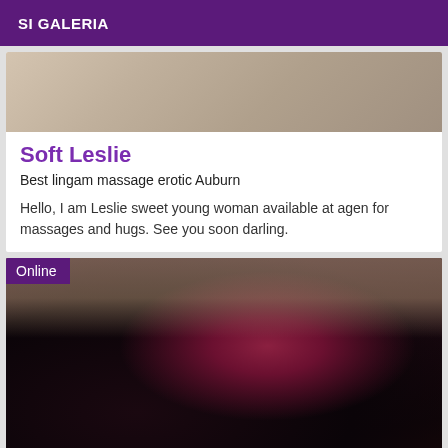SI GALERIA
[Figure (photo): Cropped photo showing upper portion of a person, partially visible]
Soft Leslie
Best lingam massage erotic Auburn
Hello, I am Leslie sweet young woman available at agen for massages and hugs. See you soon darling.
[Figure (photo): Photo with 'Online' badge in purple, showing lingerie close-up with red bow detail]